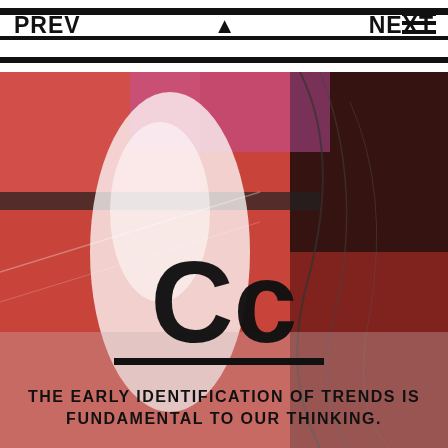PREV ▲ NEXT
[Figure (photo): Blurred motion photo of a person walking in front of a red and dark abstract background with a large 'Cc' letterform and tagline overlay]
THE EARLY IDENTIFICATION OF TRENDS IS FUNDAMENTAL TO OUR THINKING.